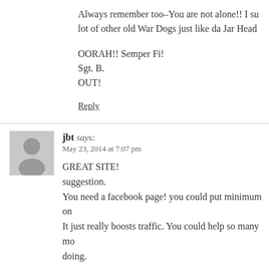Always remember too–You are not alone!! I s... lot of other old War Dogs just like da Jar Head...
OORAH!! Semper Fi!
Sgt. B.
OUT!
Reply
jbt says:
May 23, 2014 at 7:07 pm
GREAT SITE!
suggestion.
You need a facebook page! you could put minimum on...
It just really boosts traffic. You could help so many mo...
doing.
Reply